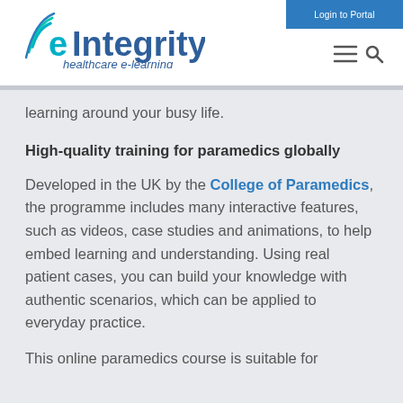Login to Portal
[Figure (logo): eIntegrity healthcare e-learning logo with blue arc/signal icon and blue/teal text]
learning around your busy life.
High-quality training for paramedics globally
Developed in the UK by the College of Paramedics, the programme includes many interactive features, such as videos, case studies and animations, to help embed learning and understanding. Using real patient cases, you can build your knowledge with authentic scenarios, which can be applied to everyday practice.
This online paramedics course is suitable for